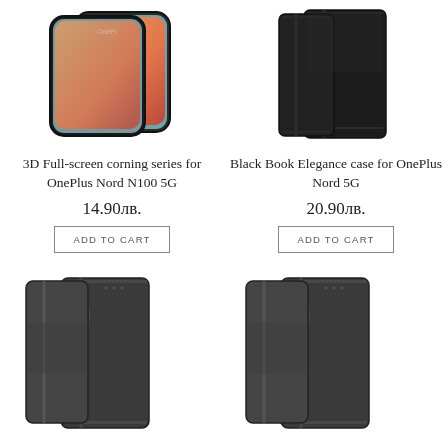[Figure (photo): 3D full-screen tempered glass protector for OnePlus Nord N100 5G]
[Figure (photo): Black Book Elegance case for OnePlus Nord 5G]
3D Full-screen corning series for OnePlus Nord N100 5G
Black Book Elegance case for OnePlus Nord 5G
14.90лв.
20.90лв.
ADD TO CART
ADD TO CART
[Figure (photo): Dark grey leather flip case for OnePlus - bottom left]
[Figure (photo): Dark grey leather flip case for OnePlus - bottom right]